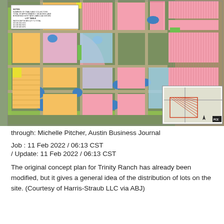[Figure (map): Aerial/concept plan map of Trinity Ranch development showing colored lot subdivisions. Pink, orange, yellow, blue, and green areas indicate different lot types and land uses. A white inset box in the upper left shows a lot table with data rows. A smaller inset map in the lower right shows a location reference. Roads and street grid are visible throughout.]
through: Michelle Pitcher, Austin Business Journal
Job : 11 Feb 2022 / 06:13 CST / Update: 11 Feb 2022 / 06:13 CST
The original concept plan for Trinity Ranch has already been modified, but it gives a general idea of the distribution of lots on the site. (Courtesy of Harris-Straub LLC via ABJ)